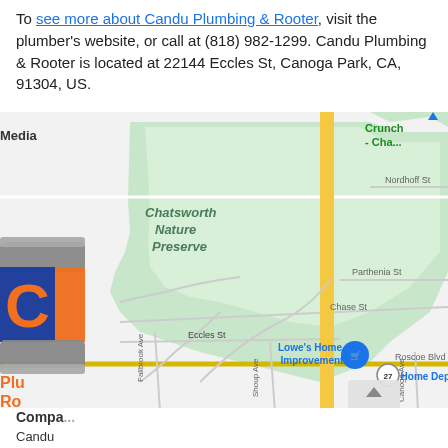To see more about Candu Plumbing & Rooter, visit the plumber's website, or call at (818) 982-1299. Candu Plumbing & Rooter is located at 22144 Eccles St, Canoga Park, CA, 91304, US.
[Figure (map): Google Maps screenshot showing the area around Canoga Park, CA. Shows Chatsworth Nature Preserve (green area), streets including Eccles St, Chase St, Roscoe Blvd, Nordhoff St, Parthenia St, Fallbrook Ave, Shoup Ave, Canoga Ave. Notable landmarks include Lowe's Home Improvement with map pin, The Home Depot, and Crunch - Cha... in upper right. A yellow highway runs vertically. Route 27 marker visible near Roscoe Blvd. A Candu Plumbing & Rooter logo (plumber with orange C and blue background, grey pipes) is overlaid on the left side of the map.]
Compa...
Candu